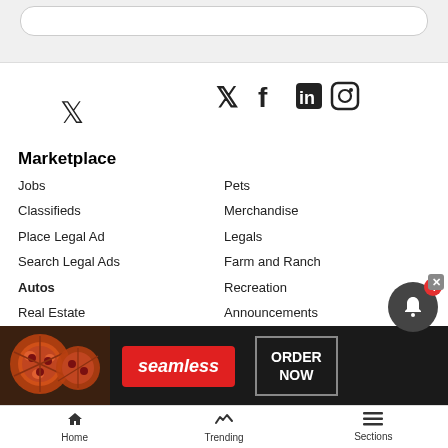[Figure (screenshot): Top gray bar with rounded search box]
[Figure (infographic): Social media icons: Twitter, Facebook, LinkedIn, Instagram]
Marketplace
Jobs
Pets
Classifieds
Merchandise
Place Legal Ad
Legals
Search Legal Ads
Farm and Ranch
Autos
Recreation
Real Estate
Announcements
Rentals
Service Directory
Reader Tools
Contact
About us
[Figure (screenshot): Seamless food delivery advertisement banner with pizza image, red Seamless logo, and ORDER NOW button]
Home   Trending   Sections